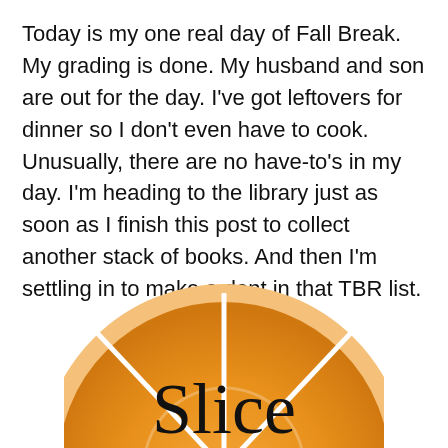Today is my one real day of Fall Break. My grading is done. My husband and son are out for the day. I've got leftovers for dinner so I don't even have to cook. Unusually, there are no have-to's in my day. I'm heading to the library just as soon as I finish this post to collect another stack of books. And then I'm settling in to make a dent in that TBR list.
[Figure (logo): Partial view of a circular orange book cover or logo with white dividing lines resembling a citrus slice, with the word 'Slice' written in large black serif text across the center]